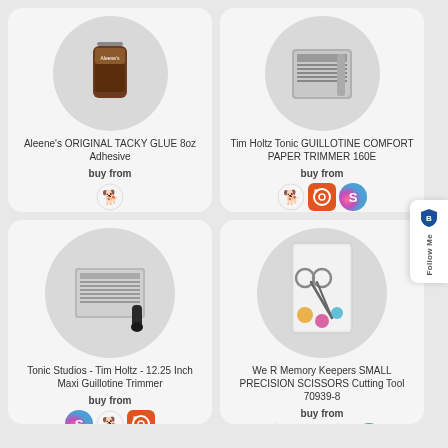[Figure (other): Product card: Aleene's ORIGINAL TACKY GLUE 8oz Adhesive with buy from store icons]
[Figure (other): Product card: Tim Holtz Tonic GUILLOTINE COMFORT PAPER TRIMMER 160E with buy from store icons]
[Figure (other): Product card: Tonic Studios - Tim Holtz - 12.25 Inch Maxi Guillotine Trimmer with buy from store icons]
[Figure (other): Product card: We R Memory Keepers SMALL PRECISION SCISSORS Cutting Tool 70939-8 with buy from store icons]